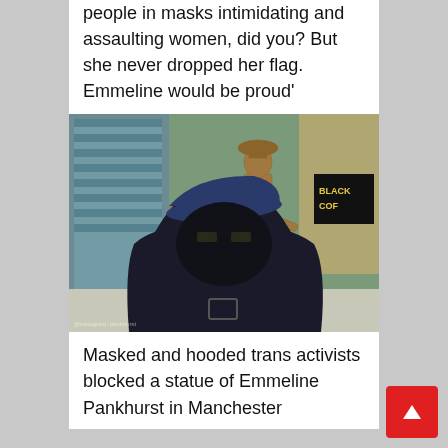people in masks intimidating and assaulting women, did you? But she never dropped her flag. Emmeline would be proud'
[Figure (photo): A masked and hooded person wearing a dark cap stands in front of a bronze statue of Emmeline Pankhurst with arm outstretched, outside a building in Manchester. The statue has teal ribbons hanging from it.]
Masked and hooded trans activists blocked a statue of Emmeline Pankhurst in Manchester